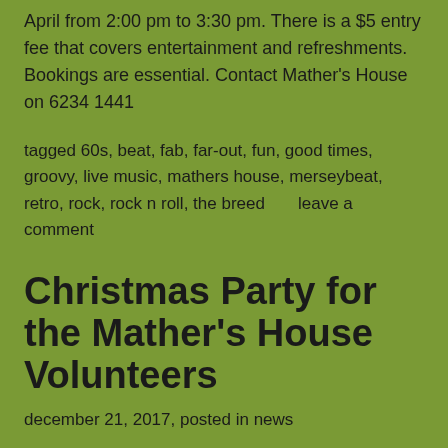April from 2:00 pm to 3:30 pm. There is a $5 entry fee that covers entertainment and refreshments. Bookings are essential. Contact Mather's House on 6234 1441
tagged 60s, beat, fab, far-out, fun, good times, groovy, live music, mathers house, merseybeat, retro, rock, rock n roll, the breed      leave a comment
Christmas Party for the Mather's House Volunteers
december 21, 2017, posted in news
Wayne & Kenny played an acoustic set as part of the Christmas Party for all the people who gave their time to help out at Mather's House during 2017. Good food and good music. What more could you ask for?